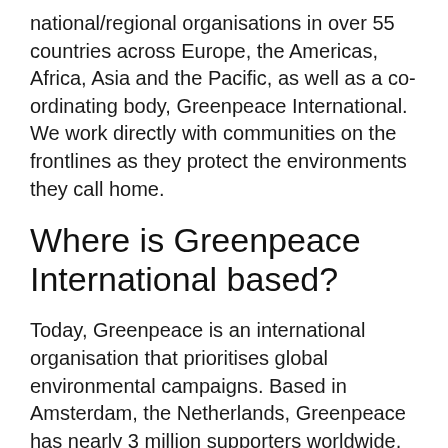national/regional organisations in over 55 countries across Europe, the Americas, Africa, Asia and the Pacific, as well as a co-ordinating body, Greenpeace International. We work directly with communities on the frontlines as they protect the environments they call home.
Where is Greenpeace International based?
Today, Greenpeace is an international organisation that prioritises global environmental campaigns. Based in Amsterdam, the Netherlands, Greenpeace has nearly 3 million supporters worldwide, and national as well as regional offices in 40